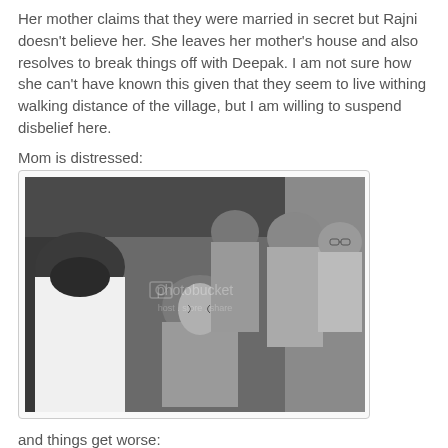Her mother claims that they were married in secret but Rajni doesn't believe her. She leaves her mother's house and also resolves to break things off with Deepak. I am not sure how she can't have known this given that they seem to live withing walking distance of the village, but I am willing to suspend disbelief here.
Mom is distressed:
[Figure (photo): Black and white photograph showing a distressed older woman in the center being comforted or held, surrounded by several people including men in the background. The image has a Photobucket watermark overlay.]
and things get worse: